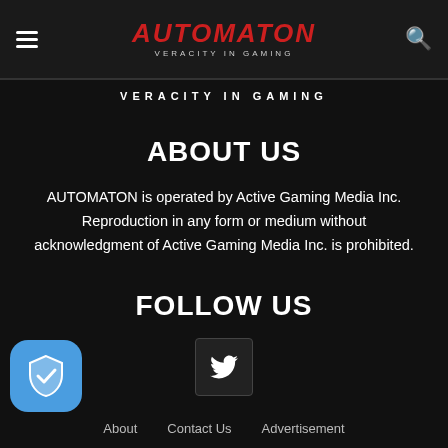AUTOMATON — VERACITY IN GAMING
VERACITY IN GAMING
ABOUT US
AUTOMATON is operated by Active Gaming Media Inc. Reproduction in any form or medium without acknowledgment of Active Gaming Media Inc. is prohibited.
FOLLOW US
[Figure (logo): Twitter bird icon in a dark rounded square box]
[Figure (logo): Blue privacy/shield checkmark badge icon in bottom left corner]
About   Contact Us   Advertisement